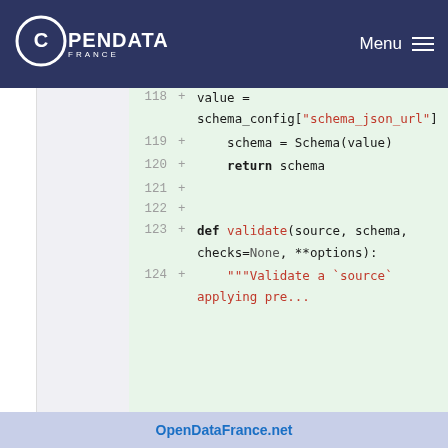OPENDATA FRANCE | Menu
[Figure (screenshot): Code diff view showing Python code lines 118-124. Lines show: schema_config["schema_json_url"], schema = Schema(value), return schema, def validate(source, schema, checks=None, **options):, and the beginning of a docstring '"""Validate a `source` applying pre...']
OpenDataFrance.net